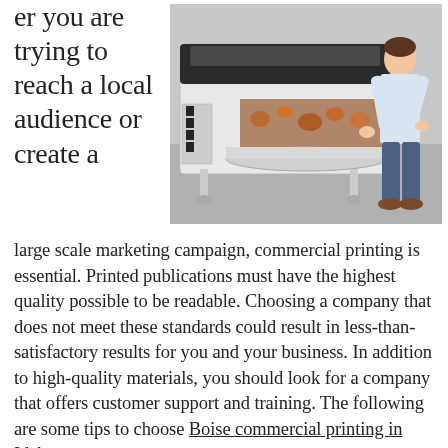er you are trying to reach a local audience or create a
[Figure (photo): A man in a light blue shirt and jeans operating a large-format industrial printing machine in a studio setting. The printer is printing a floral or decorative pattern onto a large roll of material.]
large scale marketing campaign, commercial printing is essential. Printed publications must have the highest quality possible to be readable. Choosing a company that does not meet these standards could result in less-than-satisfactory results for you and your business. In addition to high-quality materials, you should look for a company that offers customer support and training. The following are some tips to choose Boise commercial printing in Idaho.